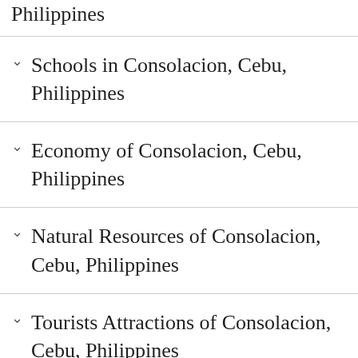Philippines
Schools in Consolacion, Cebu, Philippines
Economy of Consolacion, Cebu, Philippines
Natural Resources of Consolacion, Cebu, Philippines
Tourists Attractions of Consolacion, Cebu, Philippines